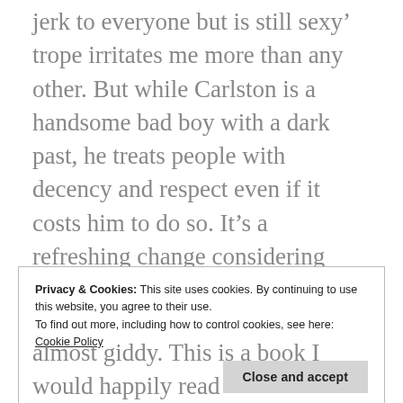jerk to everyone but is still sexy’ trope irritates me more than any other. But while Carlston is a handsome bad boy with a dark past, he treats people with decency and respect even if it costs him to do so. It’s a refreshing change considering how many ‘sexy bad boys’ are seen as ‘boyfriend material’. I appreciate how Goodman has handled Carlston’s character and his development, even if I wouldn’t consider him to be ‘boyfriend material’. Would I take him demon hunting with me? For sure. Would I take him to the movies? Hell no.
Privacy & Cookies: This site uses cookies. By continuing to use this website, you agree to their use.
To find out more, including how to control cookies, see here: Cookie Policy
Close and accept
almost giddy. This is a book I would happily read